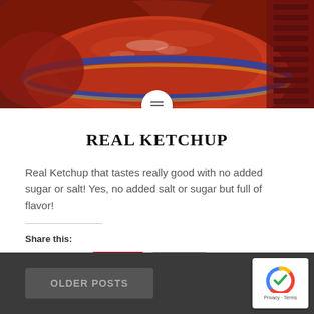[Figure (photo): Close-up photo of a bowl of ketchup/tomato sauce with tomatoes in the background, featuring a circular menu button overlay at the bottom center]
REAL KETCHUP
Real Ketchup that tastes really good with no added sugar or salt!  Yes, no added salt or sugar but full of flavor!
Share this:
OLDER POSTS